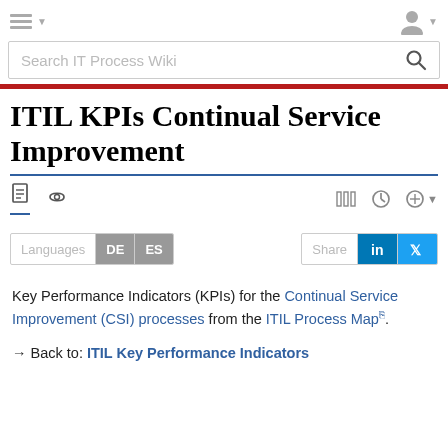Search IT Process Wiki
ITIL KPIs Continual Service Improvement
Key Performance Indicators (KPIs) for the Continual Service Improvement (CSI) processes from the ITIL Process Map.
→ Back to: ITIL Key Performance Indicators